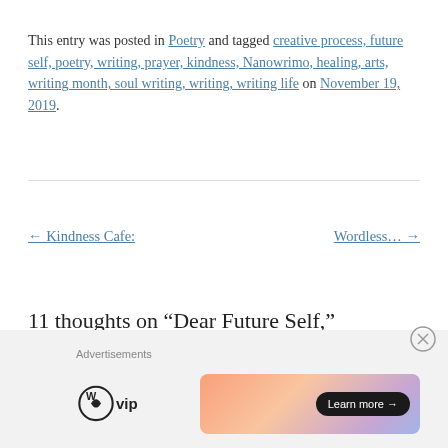This entry was posted in Poetry and tagged creative process, future self, poetry, writing, prayer, kindness, Nanowrimo, healing, arts, writing month, soul writing, writing, writing life on November 19, 2019.
← Kindness Cafe:
Wordless… →
11 thoughts on “Dear Future Self,”
[Figure (other): Advertisement bar with WordPress VIP logo and a gradient banner ad with 'Learn more →' button]